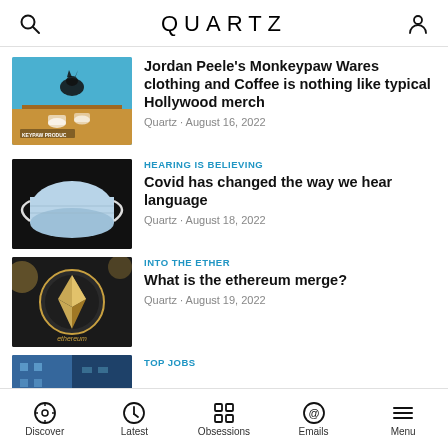QUARTZ
[Figure (photo): Monkeypaw Products image with silhouette cat and coffee cups on blue background]
Jordan Peele's Monkeypaw Wares clothing and Coffee is nothing like typical Hollywood merch
Quartz · August 16, 2022
HEARING IS BELIEVING
[Figure (photo): A blue surgical face mask on a black background]
Covid has changed the way we hear language
Quartz · August 18, 2022
INTO THE ETHER
[Figure (photo): Ethereum coin close-up on dark background with ethereum logo]
What is the ethereum merge?
Quartz · August 19, 2022
TOP JOBS
[Figure (photo): Partial image of a blue building/city]
Discover · Latest · Obsessions · Emails · Menu